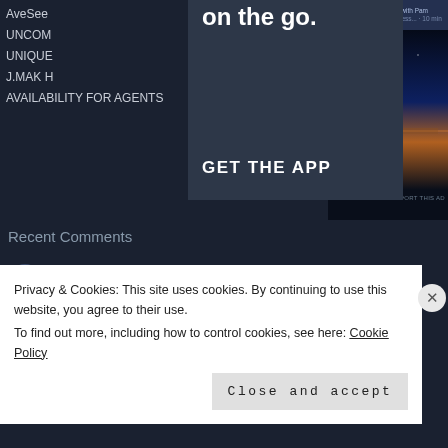AveSee
UNCOM
UNIQUE
J.MAK H
AVAILABILITY FOR AGENTS
[Figure (screenshot): Dark teal app promotion overlay showing 'on the go.' heading and 'GET THE APP' button]
[Figure (photo): Advertisement: Around the World with Pam - photo of a lone tree silhouetted against a dramatic sky reflected in water. REPORT THIS AD shown below.]
Recent Comments
Touring the US: Best... on Why we go to Carmel: for the f...
San Simeon In The Ne... on DRIVING HIGHWAY 1 DISCOVERY RO...
Privacy & Cookies: This site uses cookies. By continuing to use this website, you agree to their use.
To find out more, including how to control cookies, see here: Cookie Policy
Close and accept